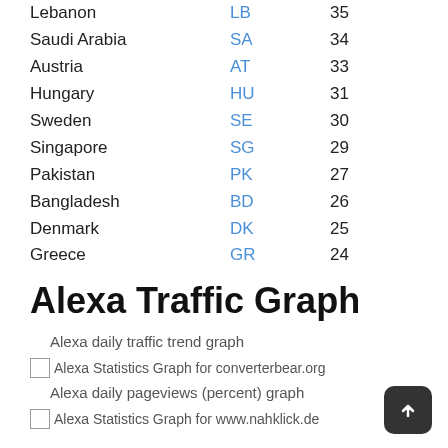| Country | Code | Rank |
| --- | --- | --- |
| Lebanon | LB | 35 |
| Saudi Arabia | SA | 34 |
| Austria | AT | 33 |
| Hungary | HU | 31 |
| Sweden | SE | 30 |
| Singapore | SG | 29 |
| Pakistan | PK | 27 |
| Bangladesh | BD | 26 |
| Denmark | DK | 25 |
| Greece | GR | 24 |
Alexa Traffic Graph
Alexa daily traffic trend graph
[Figure (screenshot): Alexa Statistics Graph for converterbear.org]
Alexa daily pageviews (percent) graph
[Figure (screenshot): Alexa Statistics Graph for www.nahklick.de]